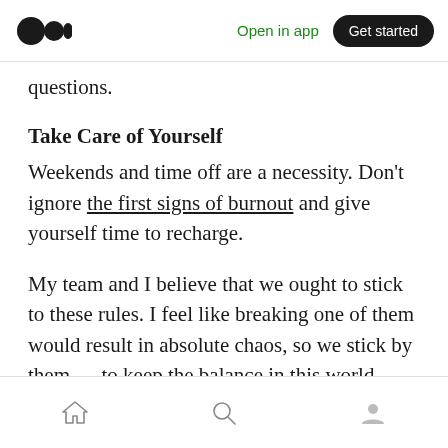Medium logo | Open in app | Get started
questions.
Take Care of Yourself
Weekends and time off are a necessity. Don't ignore the first signs of burnout and give yourself time to recharge.
My team and I believe that we ought to stick to these rules. I feel like breaking one of them would result in absolute chaos, so we stick by them — to keep the balance in this world.
Home | Search | Profile